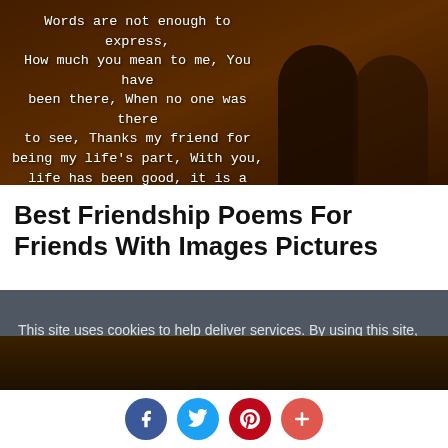[Figure (photo): Two children (silhouettes/backs) walking together outdoors in warm toned light, with a friendship quote overlaid on the left side in white monospace text on a dark brown background.]
Best Friendship Poems For Friends With Images Pictures
This site uses cookies to help deliver services. By using this site, you agree to the use of cookies.
LEARN MORE   OK
[Figure (photo): Bottom strip showing two silhouetted figures standing on a hillside against a warm glowing sky.]